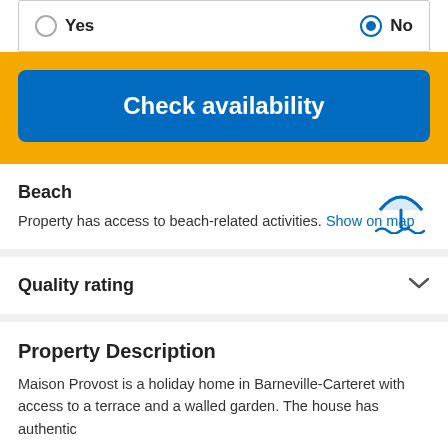Yes (radio, unselected) / No (radio, selected)
Check availability
Beach
Property has access to beach-related activities. Show on map
Quality rating
Property Description
Maison Provost is a holiday home in Barneville-Carteret with access to a terrace and a walled garden. The house has authentic